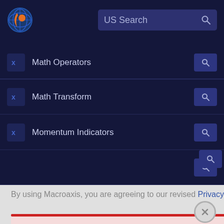[Figure (logo): Macroaxis globe logo with orange and blue colors]
US Search
Math Operators
Math Transform
Momentum Indicators
By using Macroaxis, you are agreeing to our revised Privacy Policy
OK